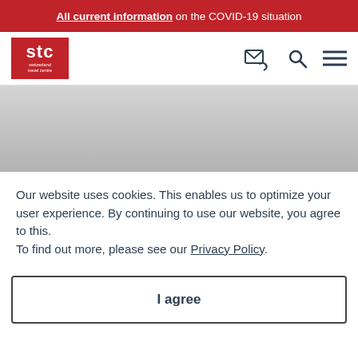All current information on the COVID-19 situation
[Figure (logo): STC Switzerland Travel Centre logo - red square with white text]
Our website uses cookies. This enables us to optimize your user experience. By continuing to use our website, you agree to this.
To find out more, please see our Privacy Policy.
I agree